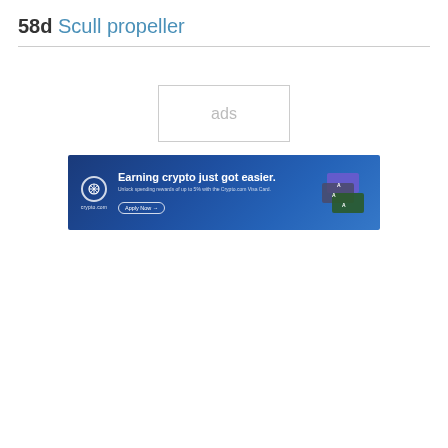58d Scull propeller
[Figure (other): Ads placeholder box with text 'ads']
[Figure (other): Crypto.com advertisement banner: 'Earning crypto just got easier. Unlock spending rewards of up to 5% with the Crypto.com Visa Card. Apply Now']